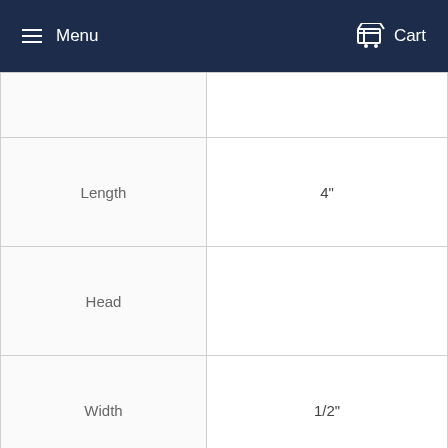Menu  Cart
| Property | Value |
| --- | --- |
|  |  |
| Length | 4" |
| Head |  |
| Width | 1/2" |
| Height | 25/64" |
| Screw Size Decimal Equivalent | 0.500" |
| Hardness | Rockwell B80 |
| Specifications Met | ASME B18.6.2 |